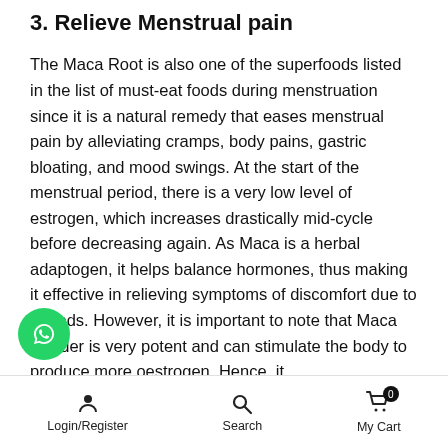3. Relieve Menstrual pain
The Maca Root is also one of the superfoods listed in the list of must-eat foods during menstruation since it is a natural remedy that eases menstrual pain by alleviating cramps, body pains, gastric bloating, and mood swings. At the start of the menstrual period, there is a very low level of estrogen, which increases drastically mid-cycle before decreasing again. As Maca is a herbal adaptogen, it helps balance hormones, thus making it effective in relieving symptoms of discomfort due to periods. However, it is important to note that Maca powder is very potent and can stimulate the body to produce more oestrogen. Hence, it
Login/Register | Search | My Cart